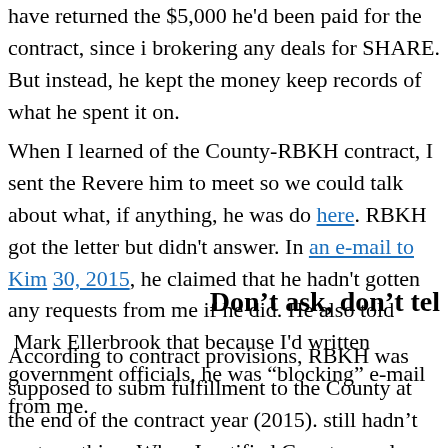have returned the $5,000 he'd been paid for the contract, since he hadn't been brokering any deals for SHARE. But instead, he kept the money and didn't keep records of what he spent it on.
When I learned of the County-RBKH contract, I sent the Reverend a letter asking him to meet so we could talk about what, if anything, he was doing. See the letter here. RBKH got the letter but didn't answer. In an e-mail to Kim Quinn dated June 30, 2015, he claimed that he hadn't gotten any requests from me and would respond if he did. He also told Mark Ellerbrook that because I'd written critically about local government officials, he was "blocking" e-mail from me.
Don't ask, don't tel
According to contract provisions, RBKH was supposed to submit a report on contract fulfillment to the County at the end of the contract year (2015). By January 2016, he still hadn't sent anything. When I notified County employee Ad... the County directed RBKH to assess his own performance and submit any materials. RBKH filed his report and Quinn forwarded it to me. In the report he acknow...